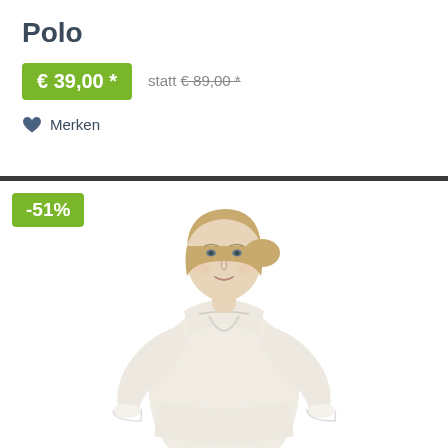Polo
€ 39,00 *
statt € 89,00 *
Merken
[Figure (photo): Woman wearing a white long-sleeve polo shirt, photographed against a white background. A green badge with '-51%' discount is shown in the upper left corner of the image.]